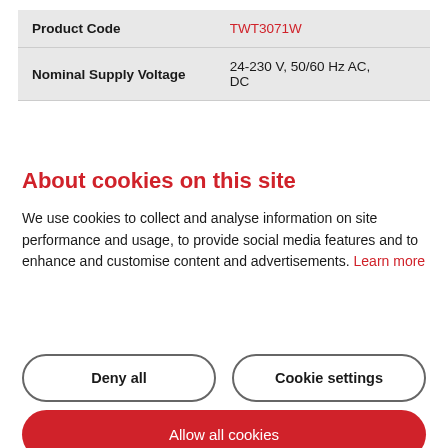|  |  |
| --- | --- |
| Product Code | TWT3071W |
| Nominal Supply Voltage | 24-230 V, 50/60 Hz AC, DC |
About cookies on this site
We use cookies to collect and analyse information on site performance and usage, to provide social media features and to enhance and customise content and advertisements. Learn more
Deny all
Cookie settings
Allow all cookies